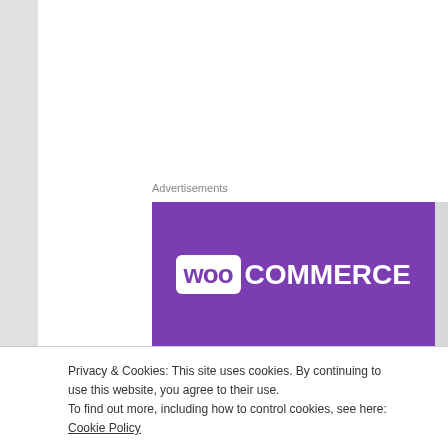Advertisements
[Figure (logo): WooCommerce logo: white 'woo' in purple rounded box followed by 'COMMERCE' in white, on a purple background, with a gray rectangle to the right]
Long version:
XCOM: Enemy Within is easily one of my favourite expansion packs. Though, to be honest, any title that gets an expansion that
Privacy & Cookies: This site uses cookies. By continuing to use this website, you agree to their use.
To find out more, including how to control cookies, see here: Cookie Policy
Close and accept